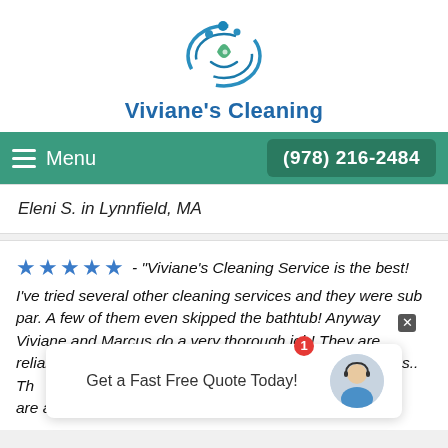[Figure (logo): Viviane's Cleaning logo: circular design with water droplets and leaf in blue/teal colors]
Viviane's Cleaning
≡ Menu   (978) 216-2484
Eleni S. in Lynnfield, MA
★★★★★ - "Viviane's Cleaning Service is the best! I've tried several other cleaning services and they were sub par. A few of them even skipped the bathtub! Anyway Viviane and Marcus do a very thorough job! They are reliable, always show up on time, c... entire ap... he cans.. Th... n't. ... are also very friendly and efficient. I look forward to
Get a Fast Free Quote Today!